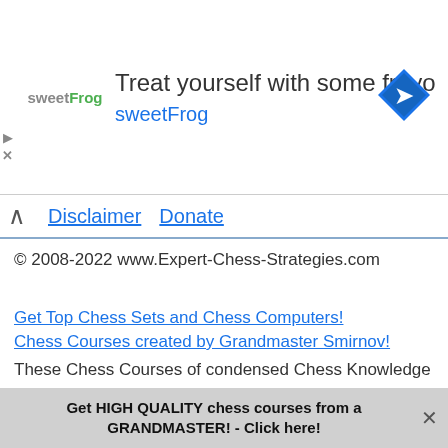[Figure (illustration): Advertisement banner: sweetFrog logo on left, text 'Treat yourself with some froyo' and 'sweetFrog' in blue, navigation arrow icon on right]
Disclaimer   Donate
© 2008-2022 www.Expert-Chess-Strategies.com
Get Top Chess Sets and Chess Computers!
Chess Courses created by Grandmaster Smirnov!
These Chess Courses of condensed Chess Knowledge will quickly turn a weak Player into an Expert!
Beginner Package
Get HIGH QUALITY chess courses from a GRANDMASTER! - Click here!